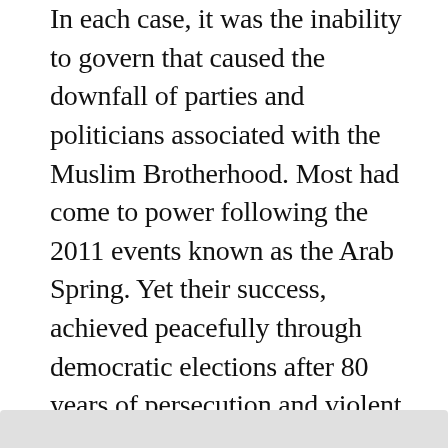In each case, it was the inability to govern that caused the downfall of parties and politicians associated with the Muslim Brotherhood. Most had come to power following the 2011 events known as the Arab Spring. Yet their success, achieved peacefully through democratic elections after 80 years of persecution and violent clashes, had resonated throughout the Muslim world. It had become apparent that the people trusted these parties and believed that under the mantle of Islam, they would bring an end to dictatorship, corruption and economic disaster. However, their stunning victory had found them unprepared for the reality of government.